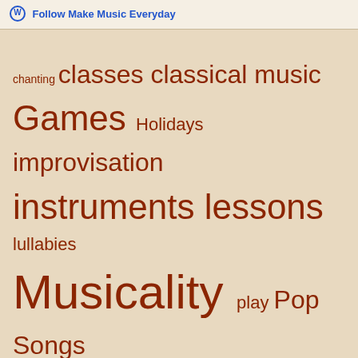Follow Make Music Everyday
[Figure (infographic): Tag cloud with music education topics in varying font sizes, brown text on beige background. Tags include: chanting, classes, classical music, Games, Holidays, improvisation, instruments, lessons, lullabies, Musicality, play, Pop Songs, Routine Songs, Singing, social learning, tips, Uncategorized, World Music]